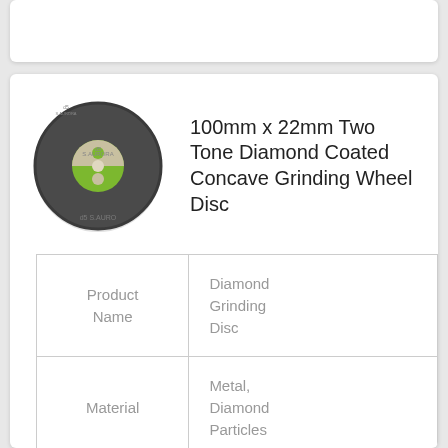[Figure (photo): Circular diamond grinding disc with dark grey abrasive surface and green/white center hub with branding. The disc shows a yin-yang style two-tone center.]
100mm x 22mm Two Tone Diamond Coated Concave Grinding Wheel Disc
|  |  |
| --- | --- |
| Product Name | Diamond Grinding Disc |
| Material | Metal, Diamond Particles |
| Color | Blue, Silver |